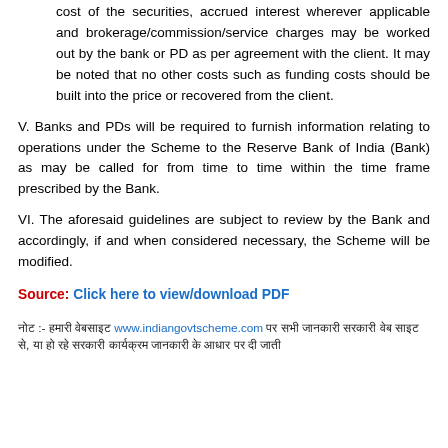cost of the securities, accrued interest wherever applicable and brokerage/commission/service charges may be worked out by the bank or PD as per agreement with the client. It may be noted that no other costs such as funding costs should be built into the price or recovered from the client.
V. Banks and PDs will be required to furnish information relating to operations under the Scheme to the Reserve Bank of India (Bank) as may be called for from time to time within the time frame prescribed by the Bank.
VI. The aforesaid guidelines are subject to review by the Bank and accordingly, if and when considered necessary, the Scheme will be modified.
Source: Click here to view/download PDF
नोट :- हमारी वेबसाइट www.indiangovtscheme.com पर सभी जानकारी सरकारी वेब साइट से, या हो रहे सरकारी कार्यक्रम जानकारी के आधार पर दी जाती